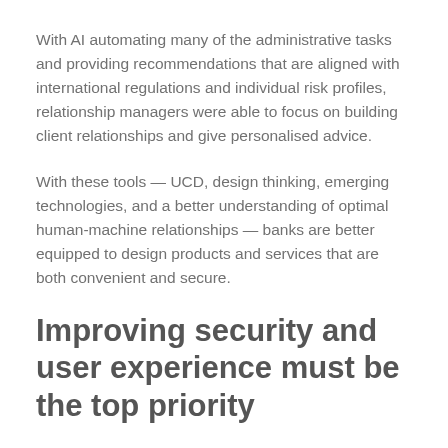With AI automating many of the administrative tasks and providing recommendations that are aligned with international regulations and individual risk profiles, relationship managers were able to focus on building client relationships and give personalised advice.
With these tools — UCD, design thinking, emerging technologies, and a better understanding of optimal human-machine relationships — banks are better equipped to design products and services that are both convenient and secure.
Improving security and user experience must be the top priority
As both banks and their customers become